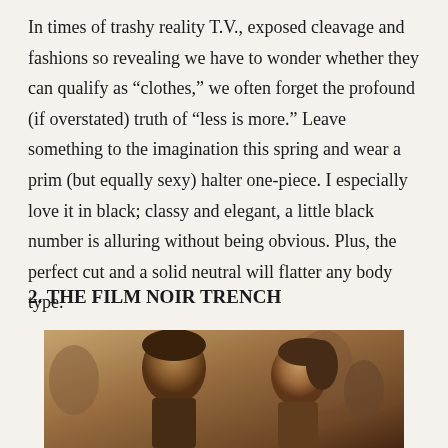In times of trashy reality T.V., exposed cleavage and fashions so revealing we have to wonder whether they can qualify as “clothes,” we often forget the profound (if overstated) truth of “less is more.” Leave something to the imagination this spring and wear a prim (but equally sexy) halter one-piece. I especially love it in black; classy and elegant, a little black number is alluring without being obvious. Plus, the perfect cut and a solid neutral will flatter any body type.
2. THE FILM NOIR TRENCH
[Figure (photo): A sepia-toned black and white photograph showing a man and woman in a film noir style setting, with a crowd in the background. The man is on the left facing right in profile, the woman is on the right facing left in profile.]